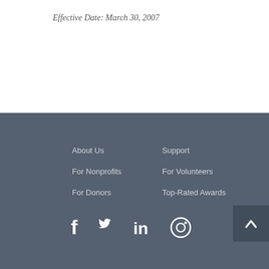Effective Date: March 30, 2007
About Us
Support
For Nonprofits
For Volunteers
For Donors
Top-Rated Awards
[Figure (illustration): Social media icons: Facebook, Twitter, LinkedIn, Instagram in white on dark grey background]
[Figure (illustration): Back to top button with upward chevron arrow on dark background]